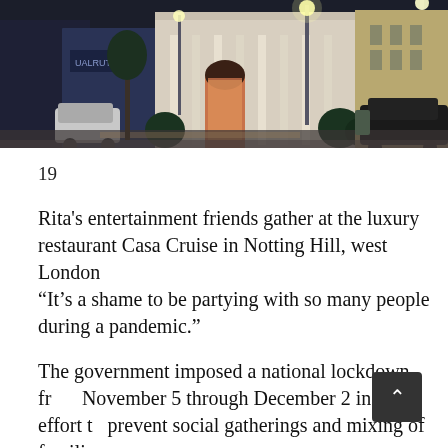[Figure (photo): Night-time street photo of a corner restaurant building (Casa Cruise) in Notting Hill, west London. The building has white columns and an arched entrance, lit with warm interior lights. A street lamp glows nearby and cars are parked on both sides of the street.]
19
Rita's entertainment friends gather at the luxury restaurant Casa Cruise in Notting Hill, west London
“It’s a shame to be partying with so many people during a pandemic.”
The government imposed a national lockdown from November 5 through December 2 in an effort to prevent social gatherings and mixing of families.